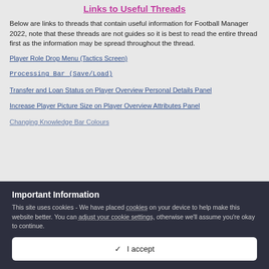Links to Useful Threads
Below are links to threads that contain useful information for Football Manager 2022, note that these threads are not guides so it is best to read the entire thread first as the information may be spread throughout the thread.
Player Role Drop Menu (Tactics Screen)
Processing Bar (Save/Load)
Transfer and Loan Status on Player Overview Personal Details Panel
Increase Player Picture Size on Player Overview Attributes Panel
Changing Knowledge Bar Colours
Important Information
This site uses cookies - We have placed cookies on your device to help make this website better. You can adjust your cookie settings, otherwise we'll assume you're okay to continue.
✓  I accept